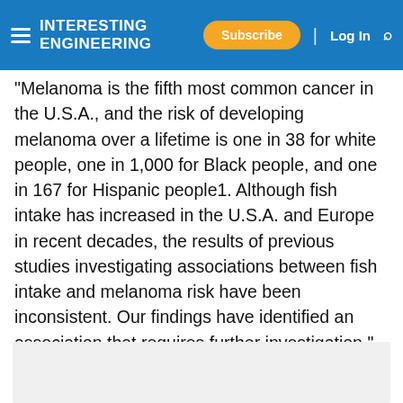Interesting Engineering — Subscribe | Log In
"Melanoma is the fifth most common cancer in the U.S.A., and the risk of developing melanoma over a lifetime is one in 38 for white people, one in 1,000 for Black people, and one in 167 for Hispanic people1. Although fish intake has increased in the U.S.A. and Europe in recent decades, the results of previous studies investigating associations between fish intake and melanoma risk have been inconsistent. Our findings have identified an association that requires further investigation," said in the statement Eunyoung Cho, the study's corresponding author.
[Figure (other): Gray advertisement or placeholder box at the bottom of the page]